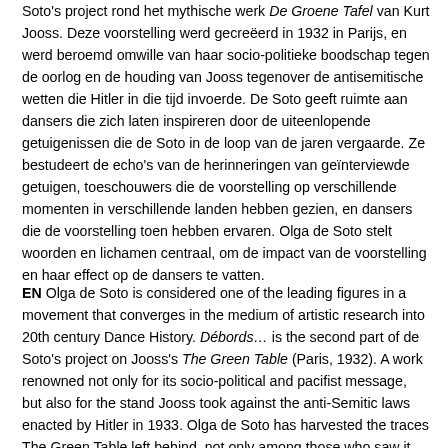Soto's project rond het mythische werk De Groene Tafel van Kurt Jooss. Deze voorstelling werd gecreëerd in 1932 in Parijs, en werd beroemd omwille van haar socio-politieke boodschap tegen de oorlog en de houding van Jooss tegenover de antisemitische wetten die Hitler in die tijd invoerde. De Soto geeft ruimte aan dansers die zich laten inspireren door de uiteenlopende getuigenissen die de Soto in de loop van de jaren vergaarde. Ze bestudeert de echo's van de herinneringen van geïnterviewde getuigen, toeschouwers die de voorstelling op verschillende momenten in verschillende landen hebben gezien, en dansers die de voorstelling toen hebben ervaren. Olga de Soto stelt woorden en lichamen centraal, om de impact van de voorstelling en haar effect op de dansers te vatten.
EN Olga de Soto is considered one of the leading figures in a movement that converges in the medium of artistic research into 20th century Dance History. Débords… is the second part of de Soto's project on Jooss's The Green Table (Paris, 1932). A work renowned not only for its socio-political and pacifist message, but also for the stand Jooss took against the anti-Semitic laws enacted by Hitler in 1933. Olga de Soto has harvested the traces The Green Table left behind, not only among those who saw it performed at different times and in different countries, but also among the several generations of dancers who performed